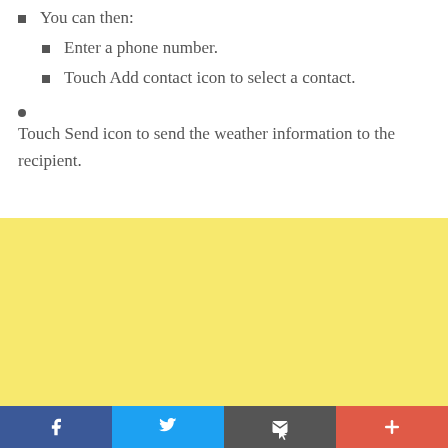You can then:
Enter a phone number.
Touch Add contact icon to select a contact.
Touch Send icon to send the weather information to the recipient.
[Figure (other): Yellow background area (advertisement placeholder)]
[Figure (other): Footer bar with Facebook, Twitter, Email, and Plus social sharing icons]